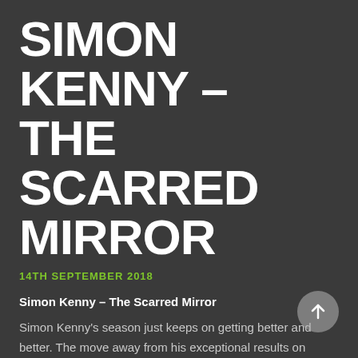SIMON KENNY – THE SCARRED MIRROR
14TH SEPTEMBER 2018
Simon Kenny – The Scarred Mirror
Simon Kenny's season just keeps on getting better and better. The move away from his exceptional results on Horton Church over to Kingsmead has kept the fire burning for Simon,... and the carp have kept on coming to his relentless approach. As ever good watercraft, baiting strategy and rig placement have played the key roles in his latest result on the